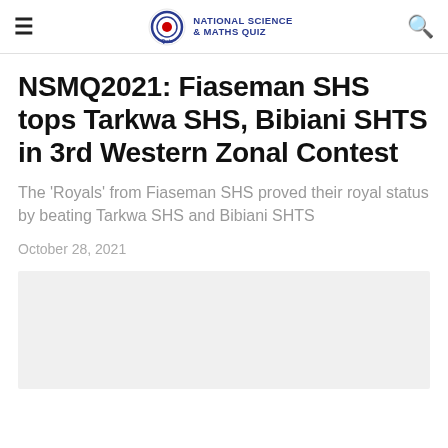NATIONAL SCIENCE & MATHS QUIZ
NSMQ2021: Fiaseman SHS tops Tarkwa SHS, Bibiani SHTS in 3rd Western Zonal Contest
The 'Royals' from Fiaseman SHS proved their royal status by beating Tarkwa SHS and Bibiani SHTS
October 28, 2021
[Figure (photo): Light grey placeholder image area below the article metadata]